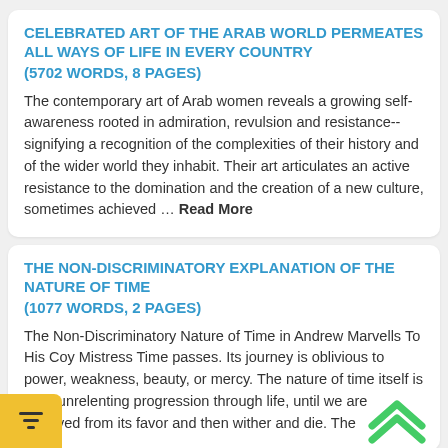CELEBRATED ART OF THE ARAB WORLD PERMEATES ALL WAYS OF LIFE IN EVERY COUNTRY
(5702 WORDS, 8 PAGES)
The contemporary art of Arab women reveals a growing self-awareness rooted in admiration, revulsion and resistance-- signifying a recognition of the complexities of their history and of the wider world they inhabit. Their art articulates an active resistance to the domination and the creation of a new culture, sometimes achieved ... Read More
THE NON-DISCRIMINATORY EXPLANATION OF THE NATURE OF TIME
(1077 WORDS, 2 PAGES)
The Non-Discriminatory Nature of Time in Andrew Marvells To His Coy Mistress Time passes. Its journey is oblivious to power, weakness, beauty, or mercy. The nature of time itself is in its unrelenting progression through life, until we are removed from its favor and then wither and die. The